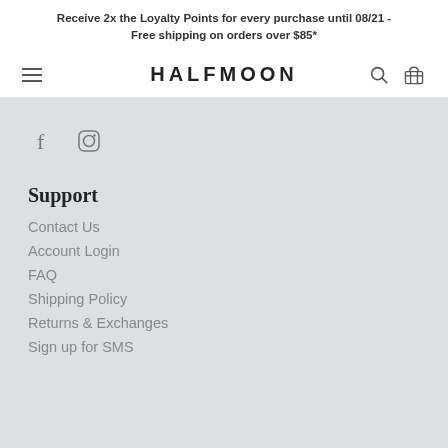Receive 2x the Loyalty Points for every purchase until 08/21 - Free shipping on orders over $85*
HALFMOON
[Figure (other): Social media icons: Facebook and Instagram]
Support
Contact Us
Account Login
FAQ
Shipping Policy
Returns & Exchanges
Sign up for SMS